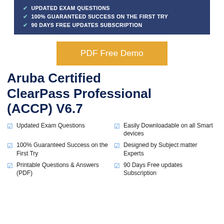UPDATED EXAM QUESTIONS
100% GUARANTEED SUCCESS ON THE FIRST TRY
90 DAYS FREE UPDATES SUBSCRIPTION
PDF Free Demo
Aruba Certified ClearPass Professional (ACCP) V6.7
Updated Exam Questions
Easily Downloadable on all Smart devices
100% Guaranteed Success on the First Try
Designed by Subject matter Experts
Printable Questions & Answers (PDF)
90 Days Free updates Subscription